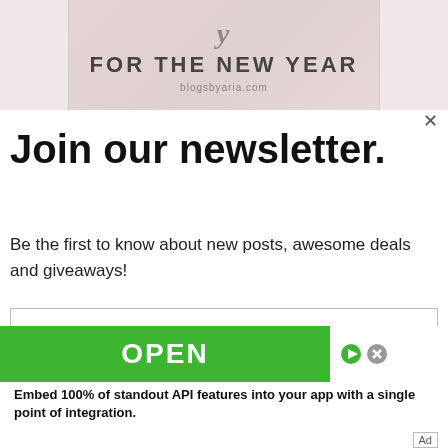[Figure (illustration): Blog banner image with text 'FOR THE NEW YEAR' and 'blogsbyaria.com' on a pink/rose background]
Join our newsletter.
Be the first to know about new posts, awesome deals and giveaways!
Email address
Subscribe
[Figure (screenshot): Advertisement banner with green OPEN button, play and X icons, and text: Embed 100% of standout API features into your app with a single point of integration. Ad label in bottom right.]